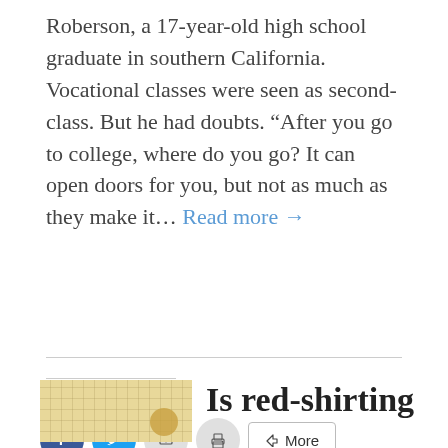Roberson, a 17-year-old high school graduate in southern California. Vocational classes were seen as second-class. But he had doubts. “After you go to college, where do you go? It can open doors for you, but not as much as they make it... Read more →
Share this:
[Figure (other): Social share buttons: Facebook, Twitter, Email, Print, and More]
Like this:
Loading...
[Figure (photo): Thumbnail image with yellow/cream grid paper background and a coin visible]
Is red-shirting